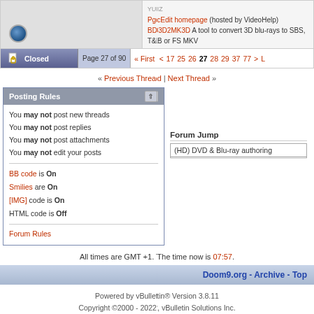[Figure (screenshot): Top section with forum post snippet showing PgcEdit homepage and BD3D2MK3D links, plus a small circular icon on the left]
[Figure (screenshot): Pagination bar showing Closed button and page navigation: Page 27 of 90, First, <, 17, 25, 26, 27 (current), 28, 29, 37, 77, >, L]
« Previous Thread | Next Thread »
Posting Rules
You may not post new threads
You may not post replies
You may not post attachments
You may not edit your posts
BB code is On
Smilies are On
[IMG] code is On
HTML code is Off
Forum Rules
Forum Jump
(HD) DVD & Blu-ray authoring
All times are GMT +1. The time now is 07:57.
Doom9.org - Archive - Top
Powered by vBulletin® Version 3.8.11
Copyright ©2000 - 2022, vBulletin Solutions Inc.